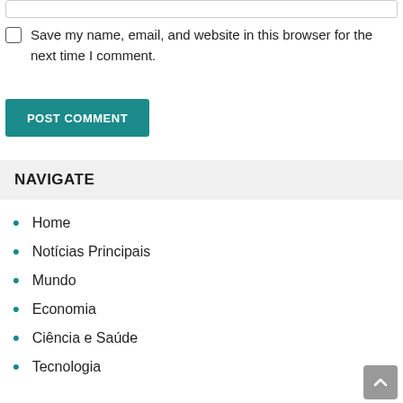Save my name, email, and website in this browser for the next time I comment.
POST COMMENT
NAVIGATE
Home
Notícias Principais
Mundo
Economia
Ciência e Saúde
Tecnologia